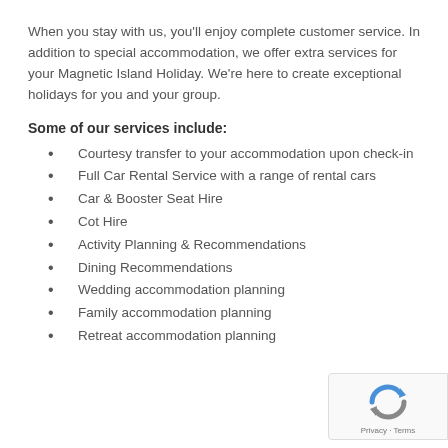When you stay with us, you'll enjoy complete customer service. In addition to special accommodation, we offer extra services for your Magnetic Island Holiday. We're here to create exceptional holidays for you and your group.
Some of our services include:
Courtesy transfer to your accommodation upon check-in
Full Car Rental Service with a range of rental cars
Car & Booster Seat Hire
Cot Hire
Activity Planning & Recommendations
Dining Recommendations
Wedding accommodation planning
Family accommodation planning
Retreat accommodation planning